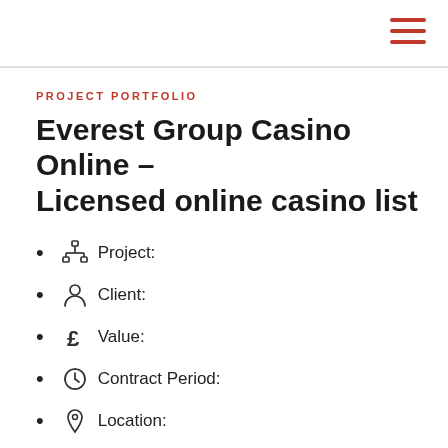PROJECT PORTFOLIO
Everest Group Casino Online – Licensed online casino list
Project:
Client:
Value:
Contract Period:
Location: